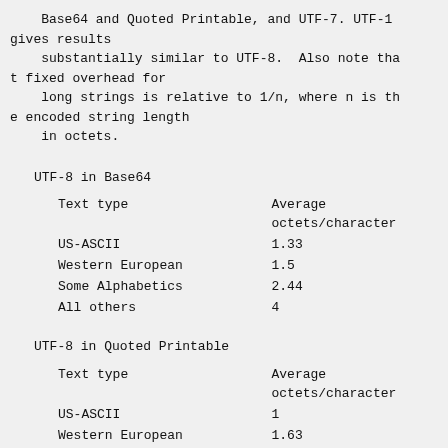Base64 and Quoted Printable, and UTF-7. UTF-1 gives results
    substantially similar to UTF-8.  Also note that fixed overhead for
    long strings is relative to 1/n, where n is the encoded string length
    in octets.
UTF-8 in Base64
| Text type | Average octets/character |
| --- | --- |
| US-ASCII | 1.33 |
| Western European | 1.5 |
| Some Alphabetics | 2.44 |
| All others | 4 |
UTF-8 in Quoted Printable
| Text type | Average octets/character |
| --- | --- |
| US-ASCII | 1 |
| Western European | 1.63 |
| Some Alphabetics | 5.17 |
| All others | 7.0 |